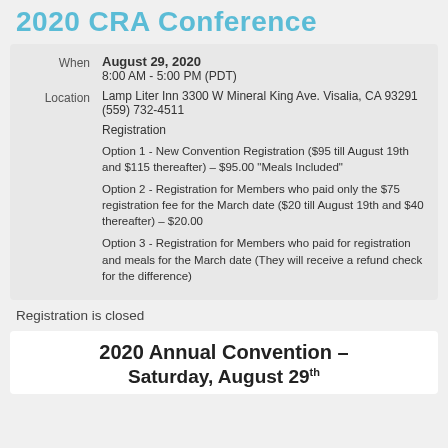2020 CRA Conference
When: August 29, 2020 8:00 AM - 5:00 PM (PDT)
Location: Lamp Liter Inn 3300 W Mineral King Ave. Visalia, CA 93291 (559) 732-4511
Registration
Option 1 - New Convention Registration ($95 till August 19th and $115 thereafter) – $95.00 "Meals Included"
Option 2 - Registration for Members who paid only the $75 registration fee for the March date ($20 till August 19th and $40 thereafter) – $20.00
Option 3 - Registration for Members who paid for registration and meals for the March date (They will receive a refund check for the difference)
Registration is closed
2020 Annual Convention – Saturday, August 29th